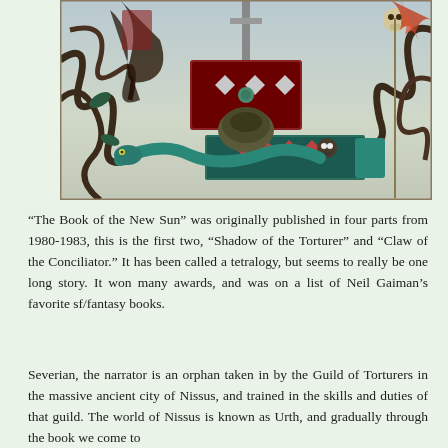[Figure (illustration): Fantasy book cover illustration showing a dark, elaborate scene with tentacle-like vines, ornate chests or boxes with red diamond patterns, a demonic or fantastical creature, a sword, and a skull-topped staff, rendered in rich jewel tones of teal, red, and brown.]
“The Book of the New Sun” was originally published in four parts from 1980-1983, this is the first two, “Shadow of the Torturer” and “Claw of the Conciliator.” It has been called a tetralogy, but seems to really be one long story. It won many awards, and was on a list of Neil Gaiman’s favorite sf/fantasy books.
Severian, the narrator is an orphan taken in by the Guild of Torturers in the massive ancient city of Nissus, and trained in the skills and duties of that guild. The world of Nissus is known as Urth, and gradually through the book we come to understand it’s more...